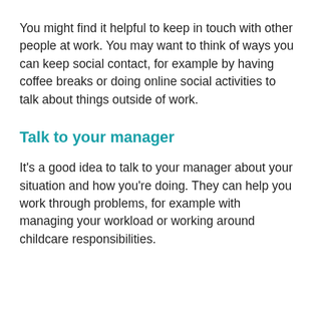You might find it helpful to keep in touch with other people at work. You may want to think of ways you can keep social contact, for example by having coffee breaks or doing online social activities to talk about things outside of work.
Talk to your manager
It's a good idea to talk to your manager about your situation and how you're doing. They can help you work through problems, for example with managing your workload or working around childcare responsibilities.